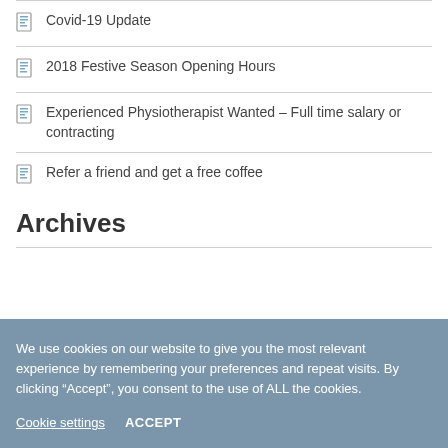Covid-19 Update
2018 Festive Season Opening Hours
Experienced Physiotherapist Wanted – Full time salary or contracting
Refer a friend and get a free coffee
Archives
We use cookies on our website to give you the most relevant experience by remembering your preferences and repeat visits. By clicking “Accept”, you consent to the use of ALL the cookies.
Cookie settings   ACCEPT